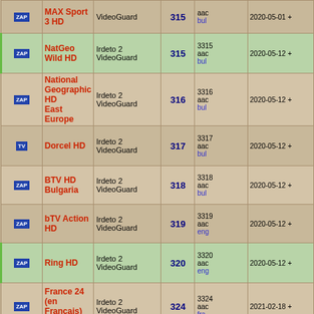| Icon | Channel Name | Encryption | Num | PID/Audio/Lang | Date |
| --- | --- | --- | --- | --- | --- |
| ZAP | MAX Sport 3 HD | VideoGuard | 315 | aac
bul | 2020-05-01 + |
| ZAP | NatGeo Wild HD | Irdeto 2
VideoGuard | 315 | 3315
aac
bul | 2020-05-12 + |
| ZAP | National Geographic HD East Europe | Irdeto 2
VideoGuard | 316 | 3316
aac
bul | 2020-05-12 + |
| TV | Dorcel HD | Irdeto 2
VideoGuard | 317 | 3317
aac
bul | 2020-05-12 + |
| ZAP | BTV HD Bulgaria | Irdeto 2
VideoGuard | 318 | 3318
aac
bul | 2020-05-12 + |
| ZAP | bTV Action HD | Irdeto 2
VideoGuard | 319 | 3319
aac
eng | 2020-05-12 + |
| ZAP | Ring HD | Irdeto 2
VideoGuard | 320 | 3320
aac
eng | 2020-05-12 + |
| ZAP | France 24 (en Français) 16:9 | Irdeto 2
VideoGuard | 324 | 3324
aac
fra | 2021-02-18 + |
| ZAP | Da Vinci Learning | Irdeto 2
VideoGuard | 325 | 3325
aac
eng
3425
aac
rus | 2020-05-12 + |
| ZAP | Pyat Nitsa! | Irdeto 2
VideoGuard | 326 | 3326
aac
rus | 2020-05-08 + |